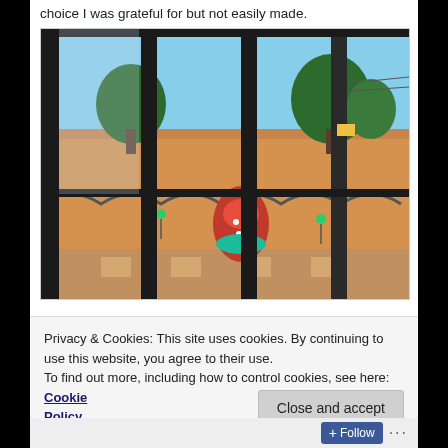choice I was grateful for but not easily made.
[Figure (photo): View through an ornate dark metal barred window/gate looking out onto a colorful courtyard or street scene. An orange/yellow decorated tile or mural is visible, along with decorative ironwork with scroll patterns, trees and buildings in the background under a blue sky.]
Privacy & Cookies: This site uses cookies. By continuing to use this website, you agree to their use.
To find out more, including how to control cookies, see here: Cookie Policy